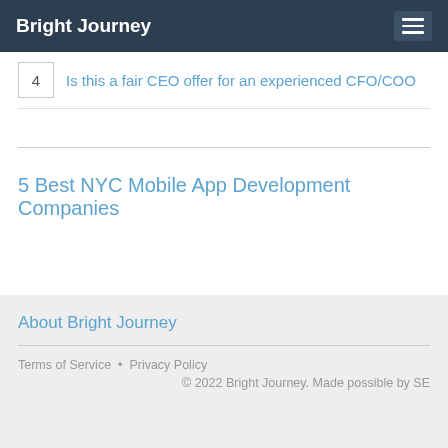Bright Journey
4  Is this a fair CEO offer for an experienced CFO/COO
5 Best NYC Mobile App Development Companies
About Bright Journey
Terms of Service  •  Privacy Policy
© 2022 Bright Journey. Made possible by SE